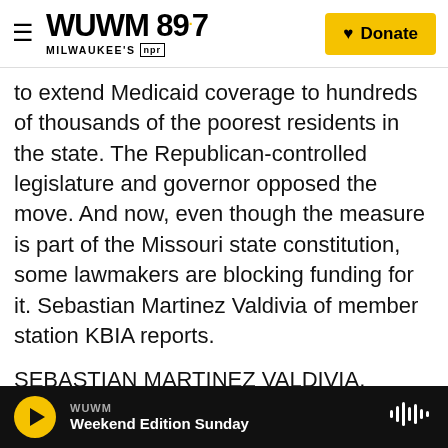WUWM 89.7 Milwaukee's NPR — Donate
to extend Medicaid coverage to hundreds of thousands of the poorest residents in the state. The Republican-controlled legislature and governor opposed the move. And now, even though the measure is part of the Missouri state constitution, some lawmakers are blocking funding for it. Sebastian Martinez Valdivia of member station KBIA reports.
SEBASTIAN MARTINEZ VALDIVIA, BYLINE: As of now, it's very hard to qualify for Medicaid as an adult in Missouri. Single adults aren't eligible for coverage at all. That was all set to change on July 1
WUWM — Weekend Edition Sunday